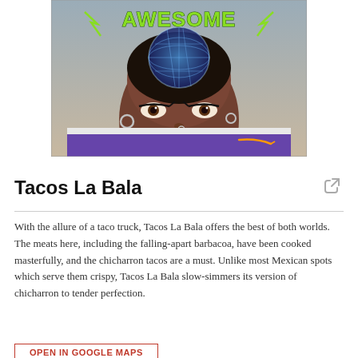[Figure (photo): Photo of a person looking over a purple Amazon book cover with 'AWESOME' text in metallic green letters above, with a blue glowing globe/disco ball on their head. The person has dramatic eye makeup and a nose ring.]
Tacos La Bala
With the allure of a taco truck, Tacos La Bala offers the best of both worlds. The meats here, including the falling-apart barbacoa, have been cooked masterfully, and the chicharron tacos are a must. Unlike most Mexican spots which serve them crispy, Tacos La Bala slow-simmers its version of chicharron to tender perfection.
OPEN IN GOOGLE MAPS